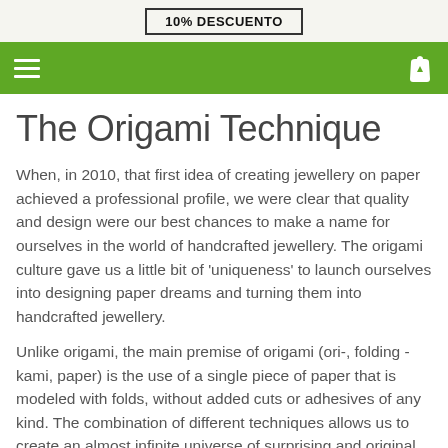10% DESCUENTO
The Origami Technique
When, in 2010, that first idea of creating jewellery on paper achieved a professional profile, we were clear that quality and design were our best chances to make a name for ourselves in the world of handcrafted jewellery. The origami culture gave us a little bit of 'uniqueness' to launch ourselves into designing paper dreams and turning them into handcrafted jewellery.
Unlike origami, the main premise of origami (ori-, folding - kami, paper) is the use of a single piece of paper that is modeled with folds, without added cuts or adhesives of any kind. The combination of different techniques allows us to create an almost infinite universe of surprising and original pieces.